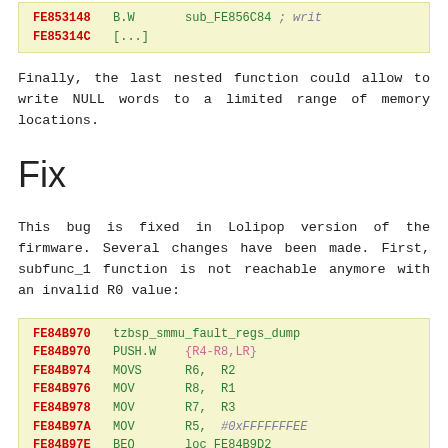[Figure (screenshot): Code block showing assembly instructions at addresses FE853148 and FE85314C with B.W call to sub_FE856C84 and ellipsis]
Finally, the last nested function could allow to write NULL words to a limited range of memory locations.
Fix
This bug is fixed in Lolipop version of the firmware. Several changes have been made. First, subfunc_1 function is not reachable anymore with an invalid R0 value:
[Figure (screenshot): Assembly code block showing tzbsp_smmu_fault_regs_dump function starting at FE84B970 with multiple instructions: PUSH.W {R4-R8,LR}, MOVS R6 R2, MOV R8 R1, MOV R7 R3, MOV R5 #0xFFFFFEE, BEQ loc_FE84B9D2, CBZ R0 loc_FE84B98A and more]